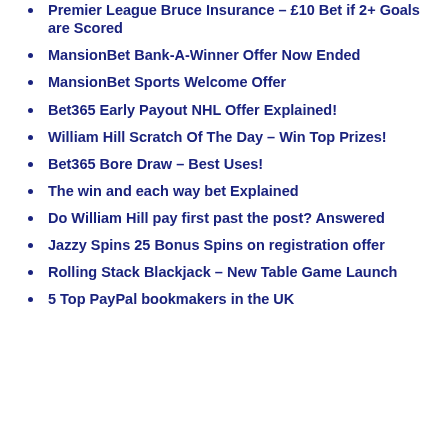Premier League Bruce Insurance – £10 Bet if 2+ Goals are Scored
MansionBet Bank-A-Winner Offer Now Ended
MansionBet Sports Welcome Offer
Bet365 Early Payout NHL Offer Explained!
William Hill Scratch Of The Day – Win Top Prizes!
Bet365 Bore Draw – Best Uses!
The win and each way bet Explained
Do William Hill pay first past the post? Answered
Jazzy Spins 25 Bonus Spins on registration offer
Rolling Stack Blackjack – New Table Game Launch
5 Top PayPal bookmakers in the UK